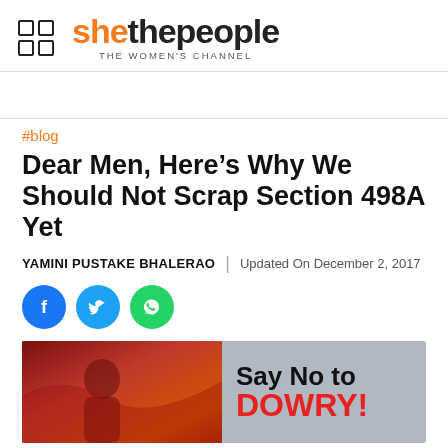shethepeople THE WOMEN'S CHANNEL
#blog
Dear Men, Here’s Why We Should Not Scrap Section 498A Yet
YAMINI PUSTAKE BHALERAO | Updated On December 2, 2017
[Figure (illustration): Social media share icons: Facebook (blue circle), Twitter (blue circle), WhatsApp (green circle)]
[Figure (photo): Feature image showing a person in red and a 'Say No to DOWRY!' protest banner/image]